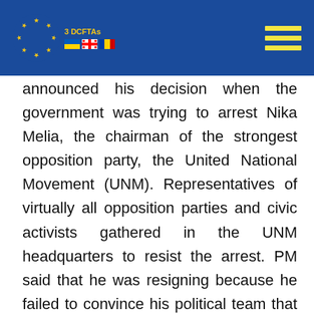3 DCFTAs [EU logo with flags: Ukraine, Georgia, Moldova] [hamburger menu]
announced his decision when the government was trying to arrest Nika Melia, the chairman of the strongest opposition party, the United National Movement (UNM). Representatives of virtually all opposition parties and civic activists gathered in the UNM headquarters to resist the arrest. PM said that he was resigning because he failed to convince his political team that under the circumstances, arresting the leader of the opposition would not be wise.